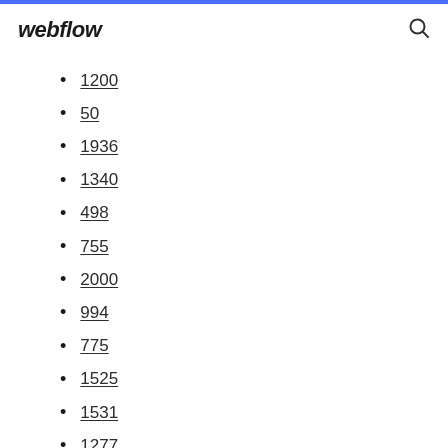webflow
1200
50
1936
1340
498
755
2000
994
775
1525
1531
1277